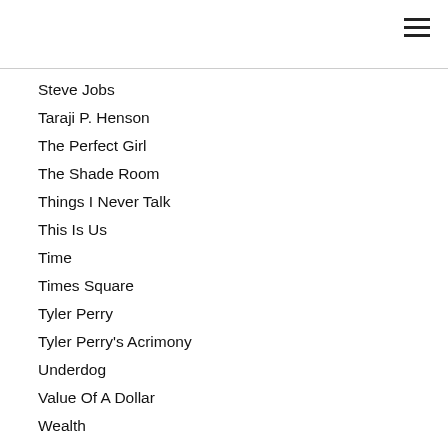Steve Jobs
Taraji P. Henson
The Perfect Girl
The Shade Room
Things I Never Talk
This Is Us
Time
Times Square
Tyler Perry
Tyler Perry's Acrimony
Underdog
Value Of A Dollar
Wealth
Welcome To My World
Who Is Drake Dating
Who Is Socrates
Youth